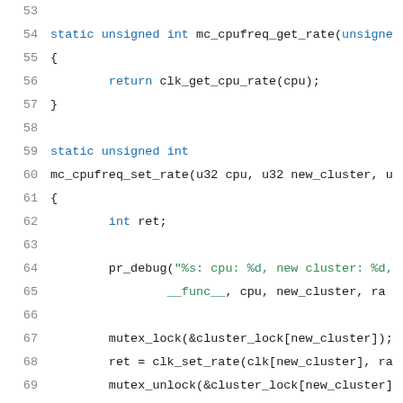[Figure (screenshot): Source code listing in C, lines 53-74, showing functions mc_cpufreq_get_rate and mc_cpufreq_set_rate with syntax highlighting. Keywords in blue, string literals in green, regular code in dark/black.]